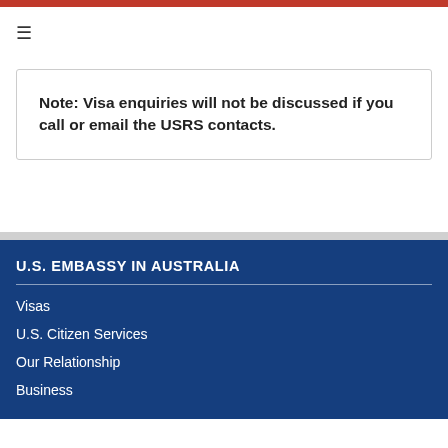Note: Visa enquiries will not be discussed if you call or email the USRS contacts.
U.S. EMBASSY IN AUSTRALIA
Visas
U.S. Citizen Services
Our Relationship
Business